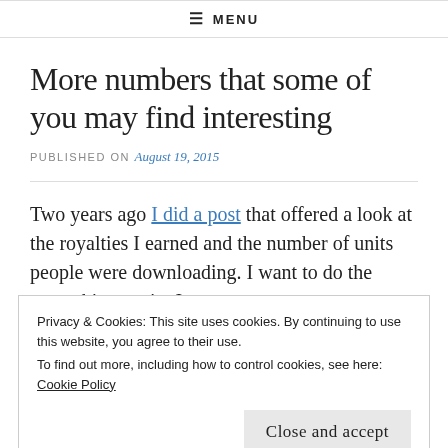≡ MENU
More numbers that some of you may find interesting
PUBLISHED ON August 19, 2015
Two years ago I did a post that offered a look at the royalties I earned and the number of units people were downloading. I want to do the same thing again. I
Privacy & Cookies: This site uses cookies. By continuing to use this website, you agree to their use. To find out more, including how to control cookies, see here: Cookie Policy
Close and accept